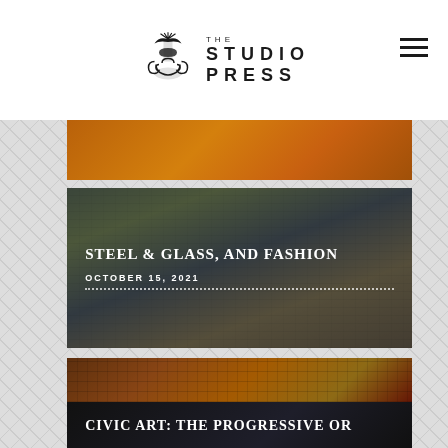THE STUDIO PRESS
[Figure (photo): Partial view of an amber/brown toned ancient artwork or fresco at top]
STEEL & GLASS, AND FASHION
OCTOBER 15, 2021
EQUITY DIVERSITY INCLUSION
OCTOBER 1, 2021
CIVIC ART: THE PROGRESSIVE OR